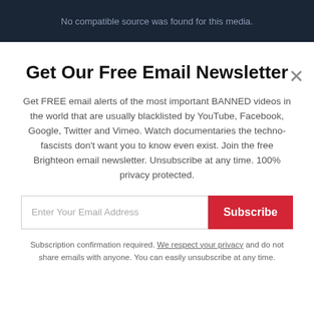[Figure (screenshot): Dark video player banner showing 'No compatible source was found for this media.']
Get Our Free Email Newsletter
Get FREE email alerts of the most important BANNED videos in the world that are usually blacklisted by YouTube, Facebook, Google, Twitter and Vimeo. Watch documentaries the techno-fascists don't want you to know even exist. Join the free Brighteon email newsletter. Unsubscribe at any time. 100% privacy protected.
Enter Your Email Address | Subscribe
Subscription confirmation required. We respect your privacy and do not share emails with anyone. You can easily unsubscribe at any time.